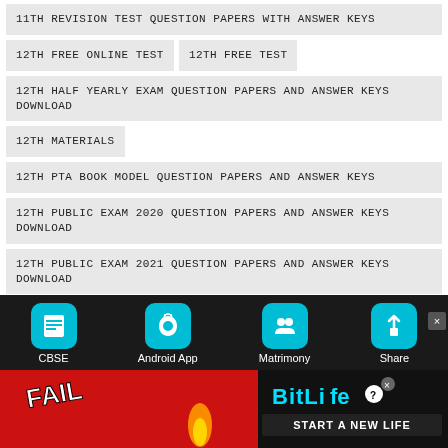11TH REVISION TEST QUESTION PAPERS WITH ANSWER KEYS
12TH FREE ONLINE TEST
12TH FREE TEST
12TH HALF YEARLY EXAM QUESTION PAPERS AND ANSWER KEYS DOWNLOAD
12TH MATERIALS
12TH PTA BOOK MODEL QUESTION PAPERS AND ANSWER KEYS
12TH PUBLIC EXAM 2020 QUESTION PAPERS AND ANSWER KEYS DOWNLOAD
12TH PUBLIC EXAM 2021 QUESTION PAPERS AND ANSWER KEYS DOWNLOAD
12TH PUBLIC EXAM 2022 QUESTION PAPERS ANSWER KEYS DOWNLOAD
12TH Q&A
[Figure (screenshot): Bottom navigation bar with icons for CBSE, Android App, Matrimony, Share on dark background]
[Figure (photo): BitLife advertisement banner with red background, FAIL text and character, and START A NEW LIFE text on black panel]